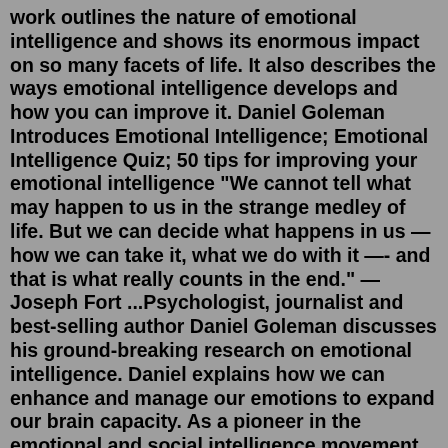work outlines the nature of emotional intelligence and shows its enormous impact on so many facets of life. It also describes the ways emotional intelligence develops and how you can improve it. Daniel Goleman Introduces Emotional Intelligence; Emotional Intelligence Quiz; 50 tips for improving your emotional intelligence "We cannot tell what may happen to us in the strange medley of life. But we can decide what happens in us — how we can take it, what we do with it —- and that is what really counts in the end." — Joseph Fort ...Psychologist, journalist and best-selling author Daniel Goleman discusses his ground-breaking research on emotional intelligence. Daniel explains how we can enhance and manage our emotions to expand our brain capacity. As a pioneer in the emotional and social intelligence movement, Daniel's research changed the way we look at what it means to ...May 20, 2022 · What is Emotional Intelligence? The American psychologist Daniel Goleman introduced the concept of Emotional